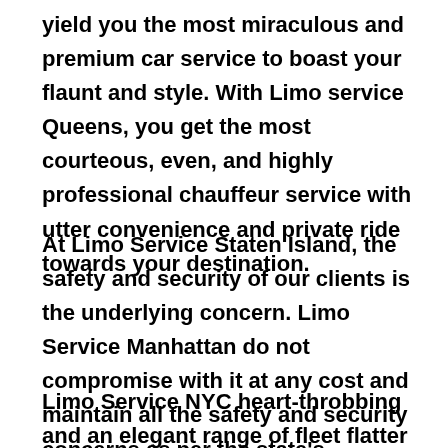yield you the most miraculous and premium car service to boast your flaunt and style. With Limo service Queens, you get the most courteous, even, and highly professional chauffeur service with utter convenience and private ride towards your destination.
At Limo Service Staten Island, the safety and security of our clients is the underlying concern. Limo Service Manhattan do not compromise with it at any cost and maintain all the safety and security concerns as per the state's regulations.
Limo Service NYC heart-throbbing and an elegant range of fleet flatter every attention on the streets of East Islip, NY. So, to proclaim your style and